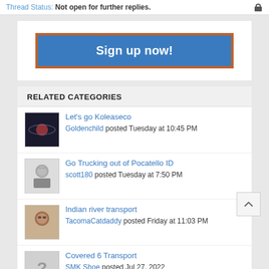Thread Status: Not open for further replies.
[Figure (screenshot): Sign up now! button with blue background and orange border]
RELATED CATEGORIES
Let's go Koleaseco — Goldenchild posted Tuesday at 10:45 PM
Go Trucking out of Pocatello ID — scott180 posted Tuesday at 7:50 PM
Indian river transport — TacomaCatdaddy posted Friday at 11:03 PM
Covered 6 Transport — SMK Shoe posted Jul 27, 2022
An old man's career goes flat,... — supersnackbar posted Jul 27, 2022